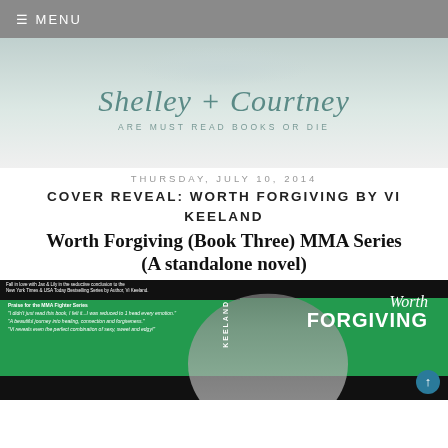≡ MENU
[Figure (logo): Shelley + Courtney are Must Read Books or Die blog banner with script lettering on light teal/grey watercolor background]
THURSDAY, JULY 10, 2014
COVER REVEAL: WORTH FORGIVING BY VI KEELAND
Worth Forgiving (Book Three) MMA Series (A standalone novel)
[Figure (photo): Book cover for Worth Forgiving by Vi Keeland - MMA fighter on black/green background with title text]